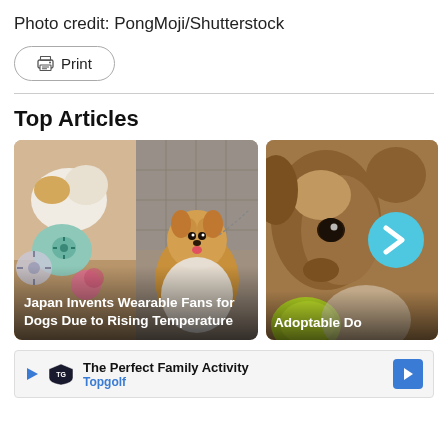Photo credit: PongMoji/Shutterstock
Print
Top Articles
[Figure (photo): Two image collage: left shows small fluffy dogs wearing wearable fan accessories in pink and teal; right shows a golden/orange fluffy dog wearing a white outfit on a tiled street. Caption overlay reads: Japan Invents Wearable Fans for Dogs Due to Rising Temperature]
[Figure (photo): Close-up photo of a brown/brindle dog looking at camera, with a cyan circle containing a right-pointing arrow (carousel navigation). Partial text at bottom: Adoptable Do]
[Figure (infographic): Advertisement strip: The Perfect Family Activity with Topgolf logo and blue arrow button]